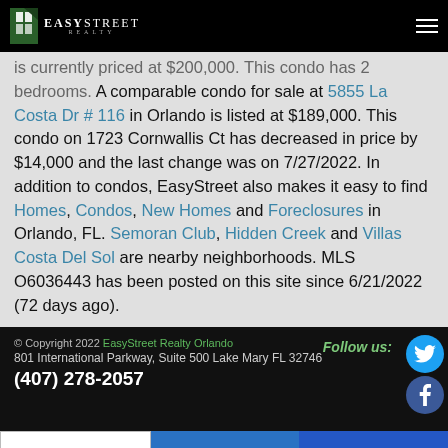EasyStreet Realty
is currently priced at $200,000. This condo has 2 bedrooms. A comparable condo for sale at 5855 La Costa Dr # 116 in Orlando is listed at $189,000. This condo on 1723 Cornwallis Ct has decreased in price by $14,000 and the last change was on 7/27/2022. In addition to condos, EasyStreet also makes it easy to find Homes, Condos, New Homes and Foreclosures in Orlando, FL. Semoran Club, Hidden Creek and Villas Costa Del Sol are nearby neighborhoods. MLS O6036443 has been posted on this site since 6/21/2022 (72 days ago).
© Copyright 2022 EasyStreet Realty Orlando
801 International Parkway, Suite 500 Lake Mary FL 32746
(407) 278-2057
Call Agent | Message Agent | Schedule Tour